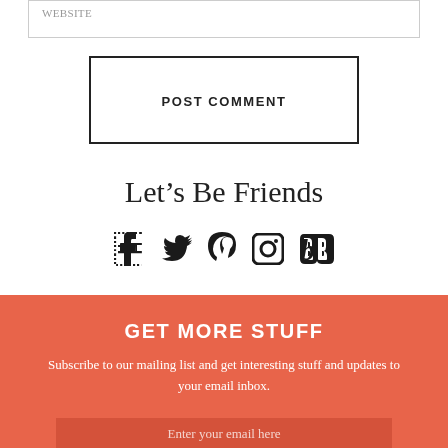WEBSITE
POST COMMENT
Let's Be Friends
[Figure (infographic): Social media icons row: Facebook, Twitter, Pinterest, Instagram, Bloglovin]
GET MORE STUFF
Subscribe to our mailing list and get interesting stuff and updates to your email inbox.
Enter your email here